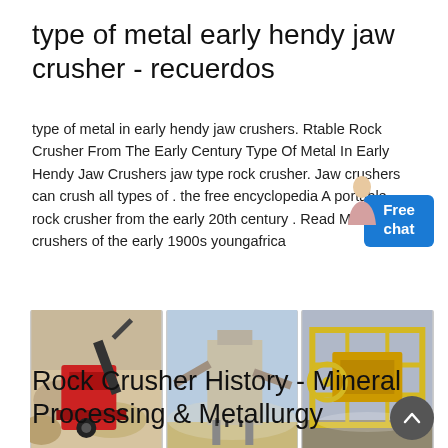type of metal early hendy jaw crusher - recuerdos
type of metal in early hendy jaw crushers. Rtable Rock Crusher From The Early Century Type Of Metal In Early Hendy Jaw Crushers jaw type rock crusher. Jaw crushers can crush all types of . the free encyclopedia A portable rock crusher from the early 20th century . Read More. jaw crushers of the early 1900s youngafrica
[Figure (photo): Three side-by-side photos of rock crushing and mining equipment: a red jaw crusher in a quarry, a large industrial crushing plant structure, and a yellow frame crusher machine.]
Rock Crusher History - Mineral Processing & Metallurgy